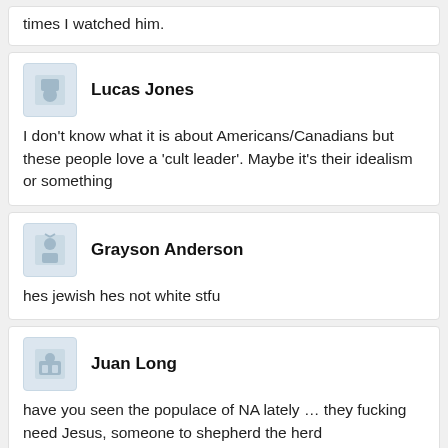times I watched him.
Lucas Jones
I don't know what it is about Americans/Canadians but these people love a 'cult leader'. Maybe it's their idealism or something
Grayson Anderson
hes jewish hes not white stfu
Juan Long
have you seen the populace of NA lately … they fucking need Jesus, someone to shepherd the herd
Michael Rivera